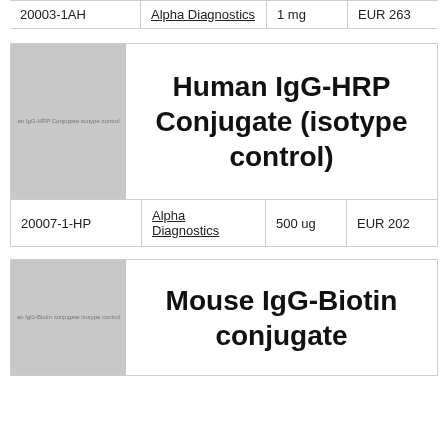| Catalog | Vendor | Quantity | Price |
| --- | --- | --- | --- |
| 20003-1AH | Alpha Diagnostics | 1 mg | EUR 263 |
[Figure (photo): Product image placeholder for Human IgG-HRP Conjugate isotype control]
Human IgG-HRP Conjugate (isotype control)
| Catalog | Vendor | Quantity | Price |
| --- | --- | --- | --- |
| 20007-1-HP | Alpha Diagnostics | 500 ug | EUR 202 |
[Figure (photo): Product image placeholder for Mouse IgG-Biotin conjugate isotype control]
Mouse IgG-Biotin conjugate